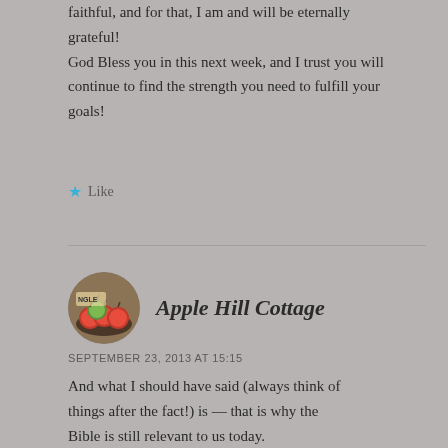faithful, and for that, I am and will be eternally grateful! God Bless you in this next week, and I trust you will continue to find the strength you need to fulfill your goals!
Like
Apple Hill Cottage
SEPTEMBER 23, 2013 AT 15:15
And what I should have said (always think of things after the fact!) is — that is why the Bible is still relevant to us today.